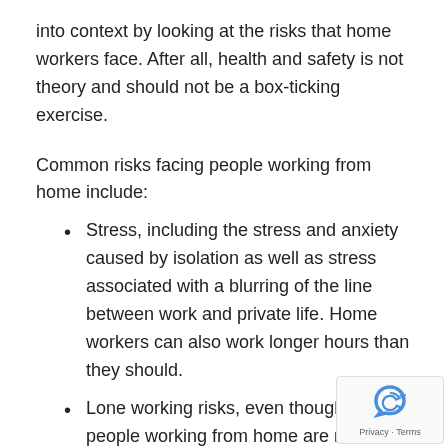into context by looking at the risks that home workers face. After all, health and safety is not theory and should not be a box-ticking exercise.
Common risks facing people working from home include:
Stress, including the stress and anxiety caused by isolation as well as stress associated with a blurring of the line between work and private life. Home workers can also work longer hours than they should.
Lone working risks, even though many people working from home are not considered lone workers. What will happen, for example, if an employee working from home has an accident?